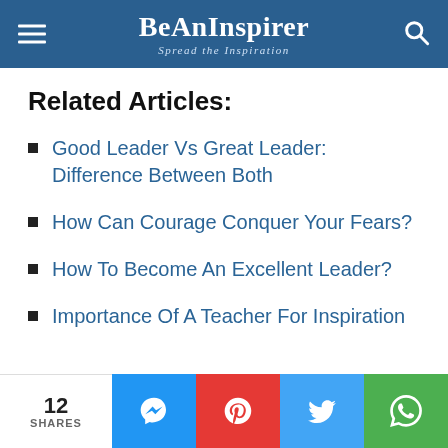BeAnInspirer — Spread the Inspiration
Related Articles:
Good Leader Vs Great Leader: Difference Between Both
How Can Courage Conquer Your Fears?
How To Become An Excellent Leader?
Importance Of A Teacher For Inspiration
12 SHARES — Messenger, Pinterest, Twitter, WhatsApp